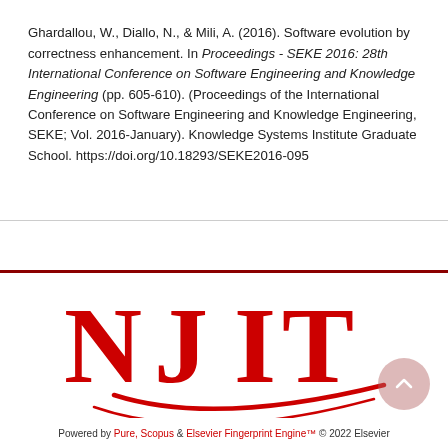Ghardallou, W., Diallo, N., & Mili, A. (2016). Software evolution by correctness enhancement. In Proceedings - SEKE 2016: 28th International Conference on Software Engineering and Knowledge Engineering (pp. 605-610). (Proceedings of the International Conference on Software Engineering and Knowledge Engineering, SEKE; Vol. 2016-January). Knowledge Systems Institute Graduate School. https://doi.org/10.18293/SEKE2016-095
[Figure (logo): NJIT (New Jersey Institute of Technology) logo in red lettering with a swoosh underline]
Powered by Pure, Scopus & Elsevier Fingerprint Engine™ © 2022 Elsevier